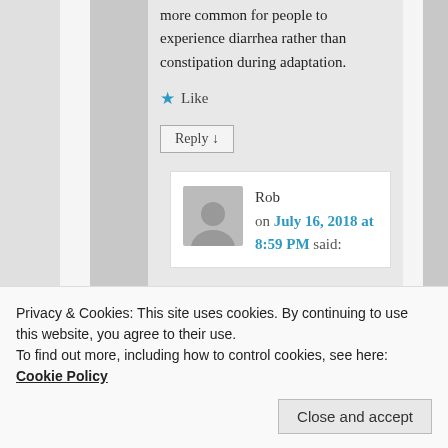more common for people to experience diarrhea rather than constipation during adaptation.
★ Like
Reply ↓
Rob on July 16, 2018 at 8:59 PM said:
Privacy & Cookies: This site uses cookies. By continuing to use this website, you agree to their use.
To find out more, including how to control cookies, see here: Cookie Policy
Close and accept
constiption, which I